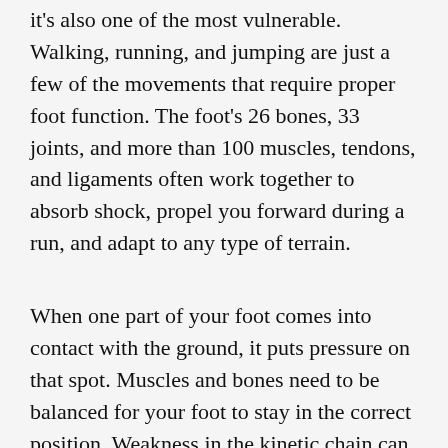it's also one of the most vulnerable. Walking, running, and jumping are just a few of the movements that require proper foot function. The foot's 26 bones, 33 joints, and more than 100 muscles, tendons, and ligaments often work together to absorb shock, propel you forward during a run, and adapt to any type of terrain.
When one part of your foot comes into contact with the ground, it puts pressure on that spot. Muscles and bones need to be balanced for your foot to stay in the correct position. Weakness in the kinetic chain can cause injuries like ankle sprains, knee pain from runner's knee, lower back discomfort, and misalignment of your body, leading to other injuries and more.